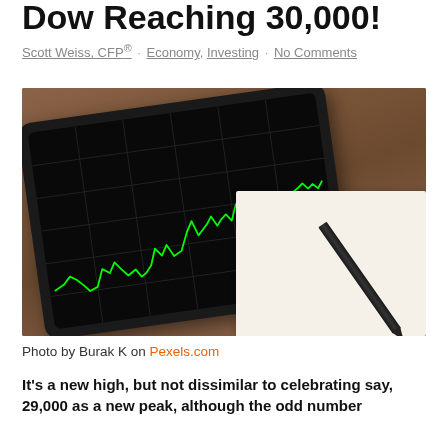Dow Reaching 30,000!
Scott Weiss, CFP® · Economy, Investing · No Comments
[Figure (photo): Tablet displaying a green stock market line chart on a black background, placed on a wooden table next to a notepad and pencil]
Photo by Burak K on Pexels.com
It's a new high, but not dissimilar to celebrating say, 29,000 as a new peak, although the odd number